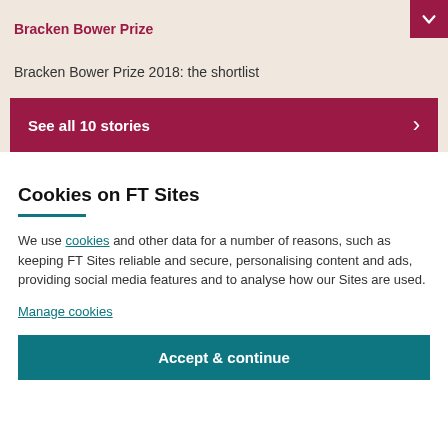Bracken Bower Prize
Bracken Bower Prize 2018: the shortlist
See all 10 stories
Cookies on FT Sites
We use cookies and other data for a number of reasons, such as keeping FT Sites reliable and secure, personalising content and ads, providing social media features and to analyse how our Sites are used.
Manage cookies
Accept & continue